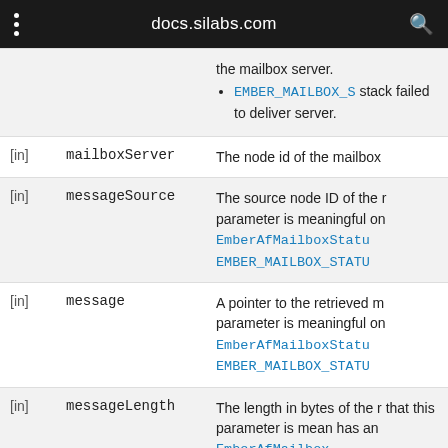docs.silabs.com
| Direction | Name | Description |
| --- | --- | --- |
| [in] |  | the mailbox server.
• EMBER_MAILBOX_S... stack failed to deliver server. |
| [in] | mailboxServer | The node id of the mailbox... |
| [in] | messageSource | The source node ID of the r... parameter is meaningful on... EmberAfMailboxStatu... EMBER_MAILBOX_STATU... |
| [in] | message | A pointer to the retrieved m... parameter is meaningful on... EmberAfMailboxStatu... EMBER_MAILBOX_STATU... |
| [in] | messageLength | The length in bytes of the r... that this parameter is mean... has an EmberAfMailbox... |